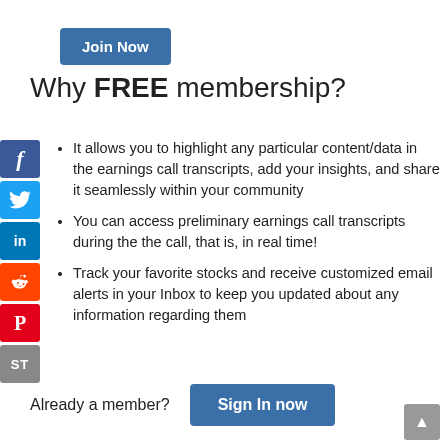Join Now
Why FREE membership?
It allows you to highlight any particular content/data in the earnings call transcripts, add your insights, and share it seamlessly within your community
You can access preliminary earnings call transcripts during the the call, that is, in real time!
Track your favorite stocks and receive customized email alerts in your Inbox to keep you updated about any information regarding them
Already a member?
Sign In now